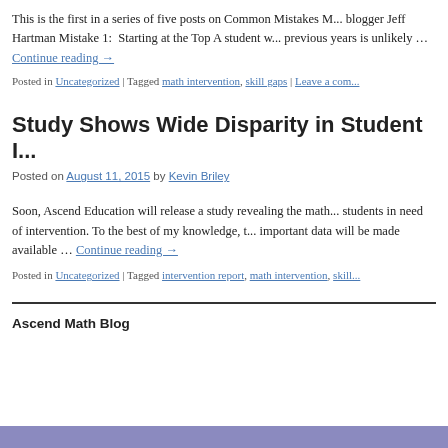This is the first in a series of five posts on Common Mistakes M... blogger Jeff Hartman Mistake 1: Starting at the Top A student w... previous years is unlikely … Continue reading →
Posted in Uncategorized | Tagged math intervention, skill gaps | Leave a com...
Study Shows Wide Disparity in Student I...
Posted on August 11, 2015 by Kevin Briley
Soon, Ascend Education will release a study revealing the math... students in need of intervention. To the best of my knowledge, t... important data will be made available … Continue reading →
Posted in Uncategorized | Tagged intervention report, math intervention, skill...
Ascend Math Blog